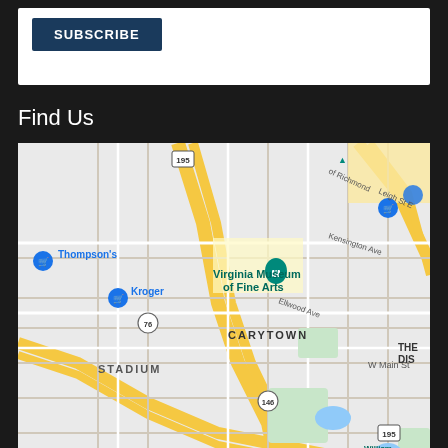SUBSCRIBE
Find Us
[Figure (map): Google Maps screenshot showing the Carytown neighborhood of Richmond, Virginia. Visible landmarks include Virginia Museum of Fine Arts, Whole Foods Market, Thompson's, Kroger, Retreat Doctors' Hospital, Roastology, Stadium district, William Boyd Park, Randolph area. Route markers: 195, 161, 76, 146, 147, 195.]